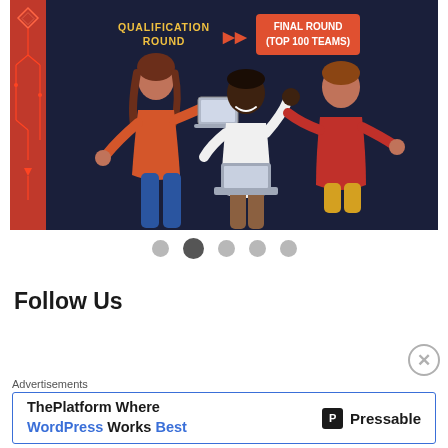[Figure (illustration): Dark navy hackathon banner showing 'QUALIFICATION ROUND' in yellow text with orange arrows pointing to 'FINAL ROUND (TOP 100 TEAMS)' in an orange box. Three illustrated people (a woman in orange top with blue pants, a man in white shirt, and a man in red shirt) are shown working together, with a red circuit-pattern strip on the left side.]
[Figure (other): Carousel indicator dots: 5 dots in a row, second dot is active (darker/larger)]
Follow Us
Advertisements
[Figure (screenshot): Advertisement banner for Pressable: 'ThePlatform Where WordPress Works Best' with the Pressable logo on the right.]